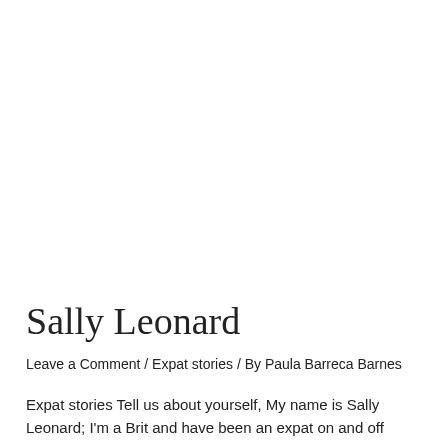Sally Leonard
Leave a Comment / Expat stories / By Paula Barreca Barnes
Expat stories Tell us about yourself, My name is Sally Leonard; I'm a Brit and have been an expat on and off